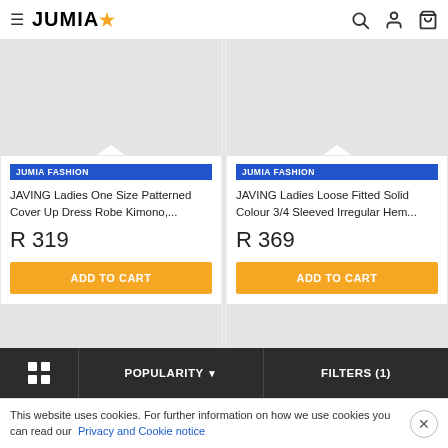JUMIA
[Figure (screenshot): Jumia e-commerce website showing two product listings for JAVING ladies clothing items, with navigation bar, product cards, bottom filter bar, and cookie notice.]
JUMIA FASHION
JAVING Ladies One Size Patterned Cover Up Dress Robe Kimono,...
R 319
ADD TO CART
JUMIA FASHION
JAVING Ladies Loose Fitted Solid Colour 3/4 Sleeved Irregular Hem...
R 369
ADD TO CART
POPULARITY
FILTERS (1)
This website uses cookies. For further information on how we use cookies you can read our Privacy and Cookie notice